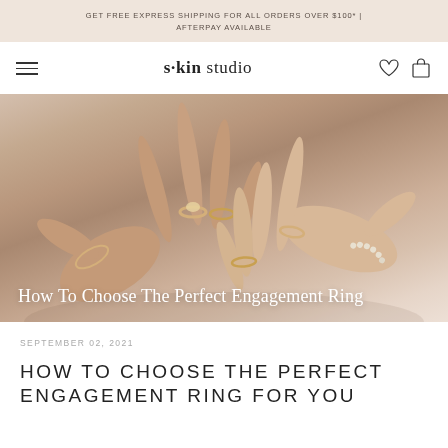GET FREE EXPRESS SHIPPING FOR ALL ORDERS OVER $100* | AFTERPAY AVAILABLE
s·kin studio
[Figure (photo): Two hands with rings and bracelets reaching toward each other against a warm beige background. One hand wears multiple stacked rings and a bracelet on the left wrist, the other hand wears two rings and a pearl bracelet.]
How To Choose The Perfect Engagement Ring
SEPTEMBER 02, 2021
HOW TO CHOOSE THE PERFECT ENGAGEMENT RING FOR YOU